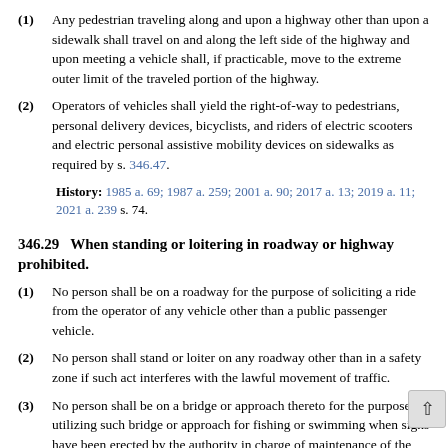(1) Any pedestrian traveling along and upon a highway other than upon a sidewalk shall travel on and along the left side of the highway and upon meeting a vehicle shall, if practicable, move to the extreme outer limit of the traveled portion of the highway.
(2) Operators of vehicles shall yield the right-of-way to pedestrians, personal delivery devices, bicyclists, and riders of electric scooters and electric personal assistive mobility devices on sidewalks as required by s. 346.47.
History: 1985 a. 69; 1987 a. 259; 2001 a. 90; 2017 a. 13; 2019 a. 11; 2021 a. 239 s. 74.
346.29 When standing or loitering in roadway or highway prohibited.
(1) No person shall be on a roadway for the purpose of soliciting a ride from the operator of any vehicle other than a public passenger vehicle.
(2) No person shall stand or loiter on any roadway other than in a safety zone if such act interferes with the lawful movement of traffic.
(3) No person shall be on a bridge or approach thereto for the purpose of utilizing such bridge or approach for fishing or swimming when signs have been erected by the authority in charge of maintenance of the highway indicating that fishing or swimming off of such bridge or approach is prohibited.